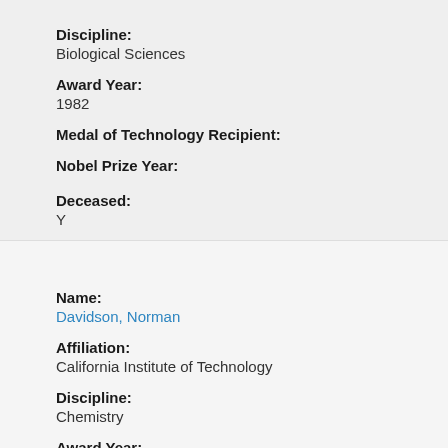Discipline: Biological Sciences
Award Year: 1982
Medal of Technology Recipient:
Nobel Prize Year:
Deceased: Y
Name: Davidson, Norman
Affiliation: California Institute of Technology
Discipline: Chemistry
Award Year: 1996